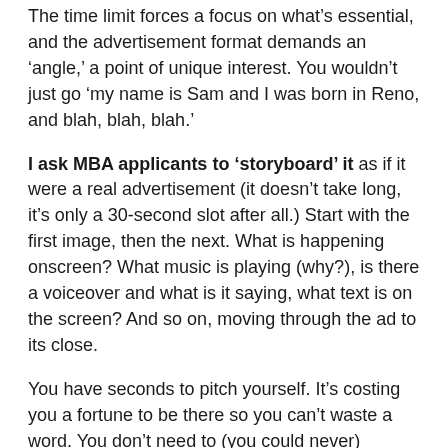The time limit forces a focus on what's essential, and the advertisement format demands an 'angle,' a point of unique interest. You wouldn't just go 'my name is Sam and I was born in Reno, and blah, blah, blah.'
I ask MBA applicants to 'storyboard' it as if it were a real advertisement (it doesn't take long, it's only a 30-second slot after all.) Start with the first image, then the next. What is happening onscreen? What music is playing (why?), is there a voiceover and what is it saying, what text is on the screen? And so on, moving through the ad to its close.
You have seconds to pitch yourself. It's costing you a fortune to be there so you can't waste a word. You don't need to (you could never) capture everything important about yourself. But you must capture and entice the viewers, and leave them with some unforgettable images and a message sandblasted on their brain.